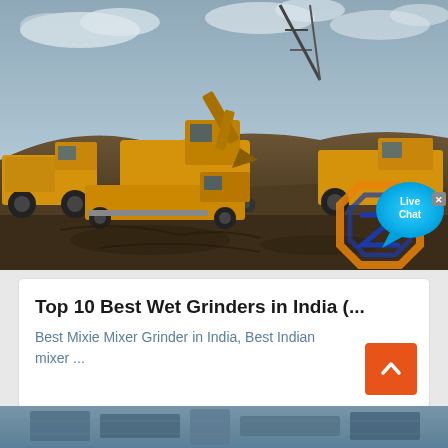[Figure (photo): Mining site with multiple large yellow CAT heavy machines — dump trucks, excavators, and graders — on a dark earthen construction site with overcast cloudy sky. A Live Chat widget overlay appears in the bottom-right corner of the image with a cyan speech-bubble and an orange/blue geometric logo icon.]
Top 10 Best Wet Grinders in India (...
Best Mixie Mixer Grinder in India, Best Indian mixer ...
[Figure (photo): Partial bottom strip showing another image — appears to be metal industrial equipment or machinery in blue/gray tones.]